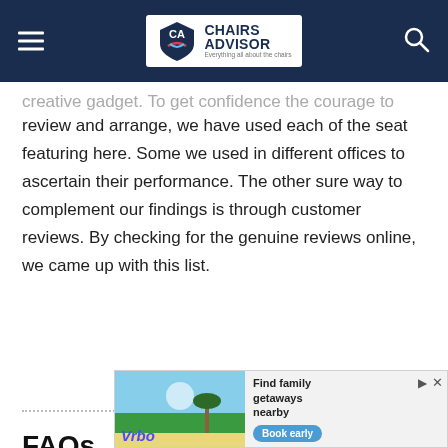Chairs Advisor — Everything all about the chairs
creative gadget. To get confidence the courage to review and arrange, we have used each of the seat featuring here. Some we used in different offices to ascertain their performance. The other sure way to complement our findings is through customer reviews. By checking for the genuine reviews online, we came up with this list.
FAQs
What are the most comfortable office chairs in 2022?
[Figure (screenshot): Vrbo advertisement banner — Find family getaways nearby, Book early button]